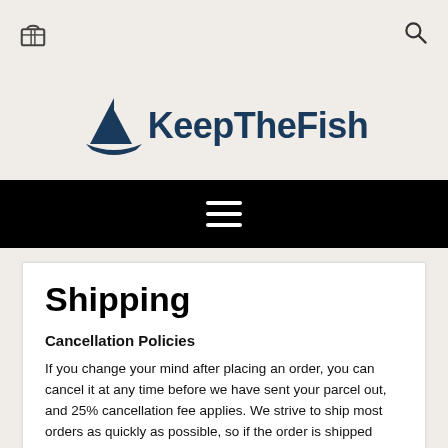[cart icon] [search icon]
[Figure (logo): KeepTheFish logo with a dark blue sailboat icon and the text KeepTheFish in dark blue bold font]
[Figure (other): Black navigation bar with a white hamburger menu icon (three horizontal lines)]
Shipping
Cancellation Policies
If you change your mind after placing an order, you can cancel it at any time before we have sent your parcel out, and 25% cancellation fee applies. We strive to ship most orders as quickly as possible, so if the order is shipped already, cancellation request will be refused.
Returns/Replacement